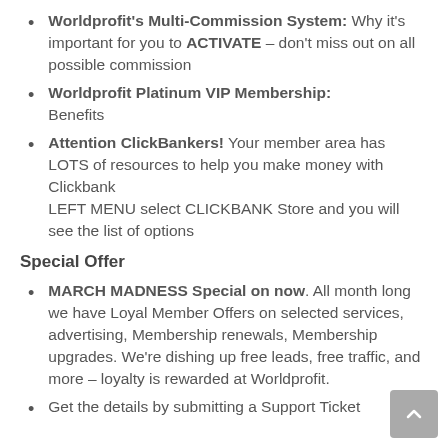Worldprofit's Multi-Commission System: Why it's important for you to ACTIVATE – don't miss out on all possible commission
Worldprofit Platinum VIP Membership: Benefits
Attention ClickBankers! Your member area has LOTS of resources to help you make money with Clickbank LEFT MENU select CLICKBANK Store and you will see the list of options
Special Offer
MARCH MADNESS Special on now. All month long we have Loyal Member Offers on selected services, advertising, Membership renewals, Membership upgrades. We're dishing up free leads, free traffic, and more – loyalty is rewarded at Worldprofit.
Get the details by submitting a Support Ticket